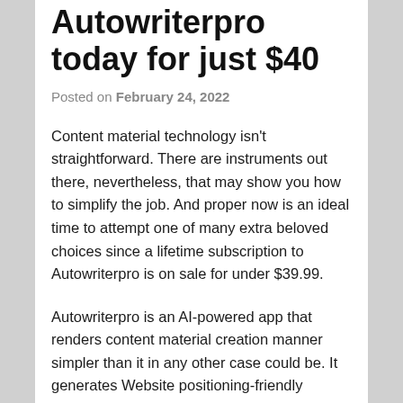Autowriterpro today for just $40
Posted on February 24, 2022
Content material technology isn't straightforward. There are instruments out there, nevertheless, that may show you how to simplify the job. And proper now is an ideal time to attempt one of many extra beloved choices since a lifetime subscription to Autowriterpro is on sale for under $39.99.
Autowriterpro is an AI-powered app that renders content material creation manner simpler than it in any other case could be. It generates Website positioning-friendly weblog posts and articles, it may possibly rewrite current content material another way, it options royalty-free templates, it may possibly convert speech to textual content, and extra. After which it'll schedule your whole content material prematurely so it will get revealed at an optimum time.